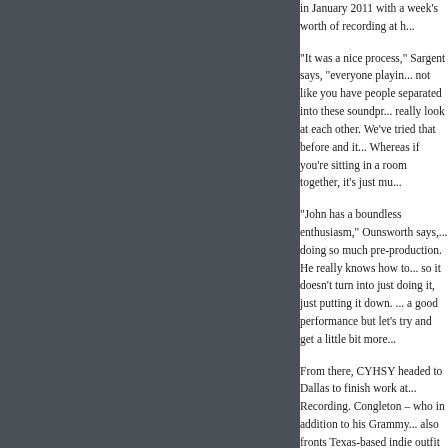in January 2011 with a week's worth of recording at h...
“It was a nice process,” Sargent says, “everyone playin... not like you have people separated into these soundpr... really look at each other. We’ve tried that before and it... Whereas if you’re sitting in a room together, it’s just mu...
“John has a boundless enthusiasm,” Ounsworth says,... doing so much pre-production. He really knows how to... so it doesn’t turn into just doing it, just putting it down.... a good performance but let’s try and get a little bit more...
From there, CYHSY headed to Dallas to finish work at... Recording. Congleton – who in addition to his Grammy... also fronts Texas-based indie outfit The Paper Chase –... to Ounsworth when it came time to track his characteri...
“It was really helpful for me that John is a singer, so he... Ounsworth says. “He knows what the recovery time mi... ‘I think you can get that better.’ For me, that was enorm...
With its elegant hooks, simmering atmospherics, and u... intensity, Hystericalwidens the band’s idiosyncratic form... remarkably expansive tidal wave of sound, all multi-lay... booming drums. Imbued with sweeping synthesizers, j... of porcussive dynamics, songs like “Samo Mistake...”